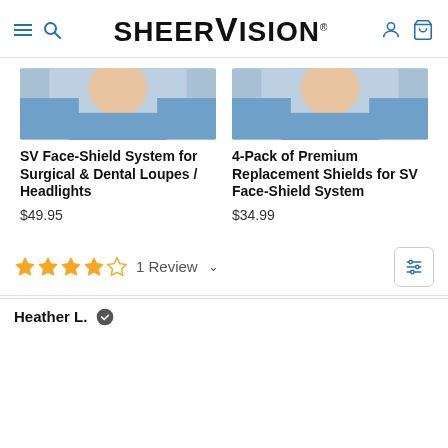SHEERVISION®
[Figure (photo): Partial photo of a person in blue scrubs/medical attire, cropped at top — left product]
[Figure (photo): Partial photo of a person in blue scrubs/medical attire, cropped at top — right product]
SV Face-Shield System for Surgical & Dental Loupes / Headlights
$49.95
4-Pack of Premium Replacement Shields for SV Face-Shield System
$34.99
1 Review
Heather L.